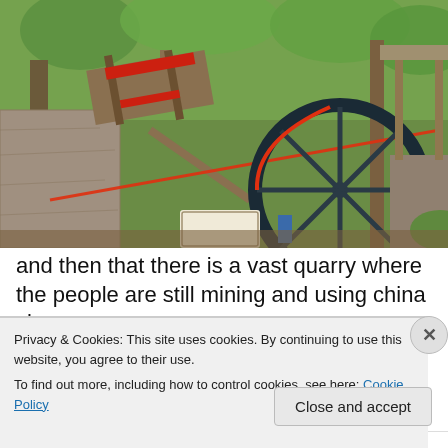[Figure (photo): Outdoor scene showing a historic water wheel with large black metal rim and spokes, set among mossy stone walls and lush green trees. Wooden structures and orange safety tape visible. A small informational sign at the bottom center.]
and then that there is a vast quarry where the people are still mining and using china clay
Privacy & Cookies: This site uses cookies. By continuing to use this website, you agree to their use.
To find out more, including how to control cookies, see here: Cookie Policy
Close and accept